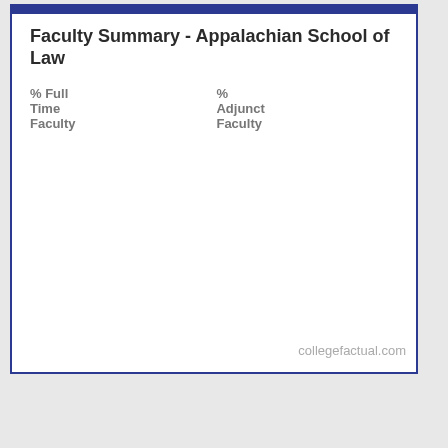Faculty Summary - Appalachian School of Law
% Full Time Faculty
% Adjunct Faculty
collegefactual.com